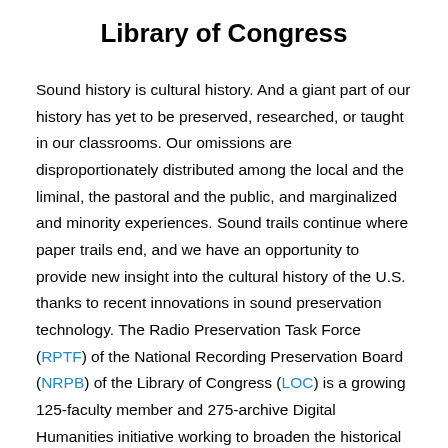Library of Congress
Sound history is cultural history. And a giant part of our history has yet to be preserved, researched, or taught in our classrooms. Our omissions are disproportionately distributed among the local and the liminal, the pastoral and the public, and marginalized and minority experiences. Sound trails continue where paper trails end, and we have an opportunity to provide new insight into the cultural history of the U.S. thanks to recent innovations in sound preservation technology. The Radio Preservation Task Force (RPTF) of the National Recording Preservation Board (NRPB) of the Library of Congress (LOC) is a growing 125-faculty member and 275-archive Digital Humanities initiative working to broaden the historical